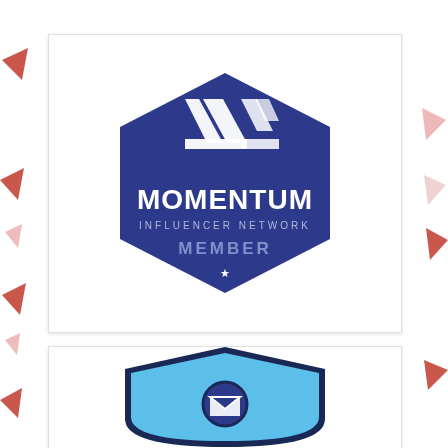[Figure (logo): Momentum Influencer Network Member badge — dark blue hexagon shape with a white geometric abstract logo mark (overlapping diagonal stripes/arrows) at top, text MOMENTUM in large white letters, INFLUENCER NETWORK in smaller spaced letters, MEMBER in bold lighter blue, and a white star below]
[Figure (logo): Partial view of a second badge/logo — light blue shield shape with dark navy border, partially visible at the bottom of the page]